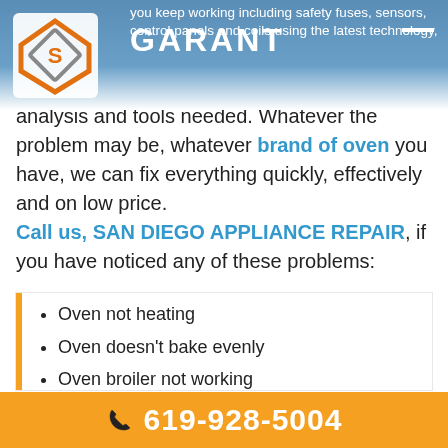[Figure (logo): Garant appliance repair logo with orange/grey diamond shape and GARANT text in header bar]
you keep working including safety fuses, sensors, control panels and coils using the latest technology, analysis and tools needed. Whatever the problem may be, whatever brand of oven you have, we can fix everything quickly, effectively and on low price.
Call us, SAN DIEGO APPLIANCE REPAIR, if you have noticed any of these problems:
Oven not heating
Oven doesn't bake evenly
Oven broiler not working
Oven temperature not accurate
619-928-5004